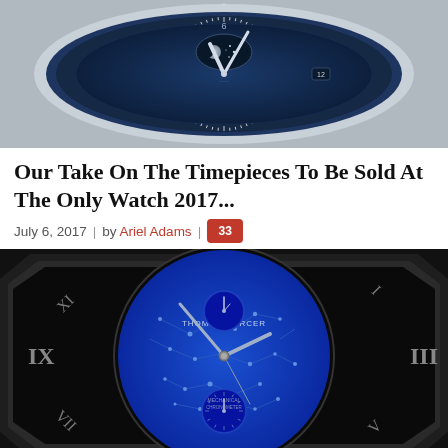[Figure (photo): Close-up photo of a luxury watch with blue dial, moon phase complication, and silver case]
Our Take On The Timepieces To Be Sold At The Only Watch 2017...
July 6, 2017 | by Ariel Adams | 33
[Figure (photo): Close-up photo of Thomas Mercer Brittanica Chronometer Clock with octagonal case, blue star-map dial, Roman numerals, and two sub-dials]
Thomas Mercer Brittanica Chronometer Clock Donated To O...